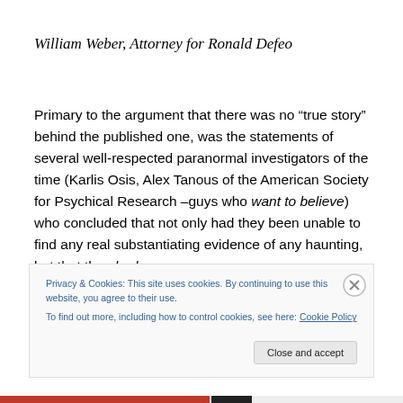William Weber, Attorney for Ronald Defeo
Primary to the argument that there was no “true story” behind the published one, was the statements of several well-respected paranormal investigators of the time (Karlis Osis, Alex Tanous of the American Society for Psychical Research –guys who want to believe) who concluded that not only had they been unable to find any real substantiating evidence of any haunting, but that they had
Privacy & Cookies: This site uses cookies. By continuing to use this website, you agree to their use.
To find out more, including how to control cookies, see here: Cookie Policy